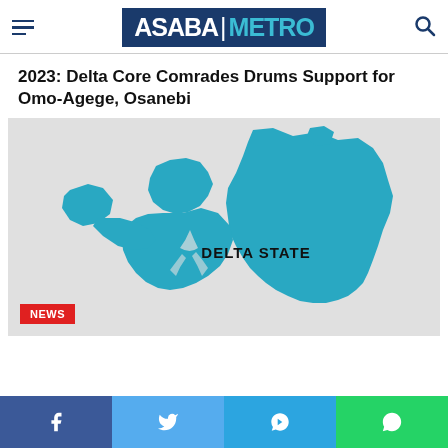ASABA METRO
2023: Delta Core Comrades Drums Support for Omo-Agege, Osanebi
[Figure (map): Map of Delta State, Nigeria, shown in teal/cyan color on a light grey background. The state outline shows its distinctive shape with river delta features. Text 'DELTA STATE' is printed in bold black letters in the center-right area of the map.]
NEWS